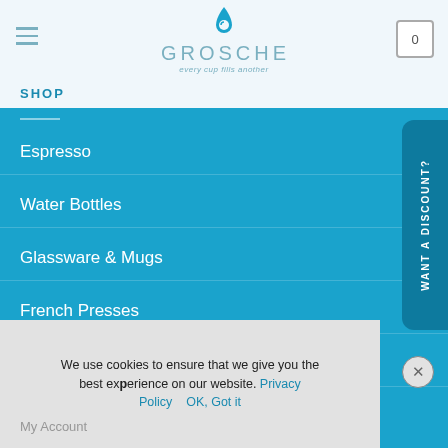GROSCHE - every cup fills another
SHOP
Espresso
Water Bottles
Glassware & Mugs
French Presses
Teapots
Whole Bean Coffee
Loose-Leaf Teas
We use cookies to ensure that we give you the best experience on our website. Privacy Policy  OK, Got it